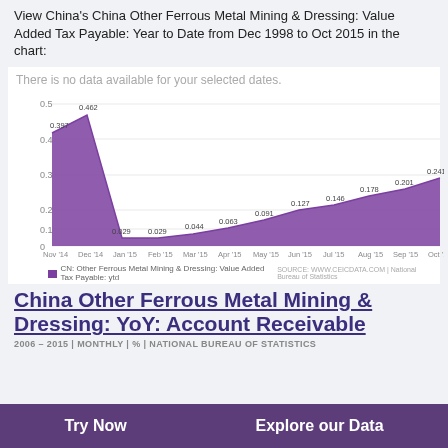View China's China Other Ferrous Metal Mining & Dressing: Value Added Tax Payable: Year to Date from Dec 1998 to Oct 2015 in the chart:
[Figure (area-chart): There is no data available for your selected dates.]
China Other Ferrous Metal Mining & Dressing: YoY: Account Receivable
2006 – 2015 | MONTHLY | % | NATIONAL BUREAU OF STATISTICS
Try Now    Explore our Data